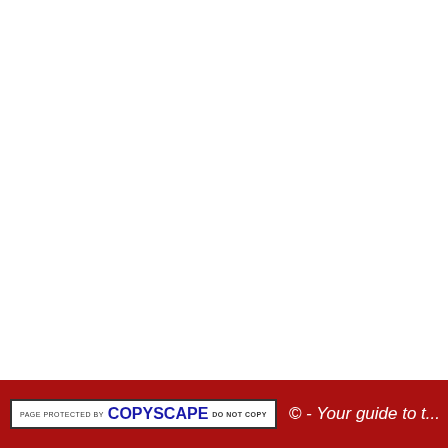| Place | Prize |
| --- | --- |
| 5th | $15... |
have to play for 12... Poker4ever is a sma... ALL of their players m...
If you manage to wi... Hold'em is their mai... win the NL Hold'em... tables he/she could e...
Poker4ever rev...
Poker4ever bo...
Poker4ever fre...
PAGE PROTECTED BY COPYSCAPE DO NOT COPY   © - Your guide to t...